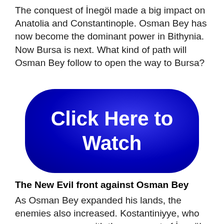The conquest of İnegöl made a big impact on Anatolia and Constantinople. Osman Bey has now become the dominant power in Bithynia. Now Bursa is next. What kind of path will Osman Bey follow to open the way to Bursa?
[Figure (other): A large blue rounded button with gradient background and white bold text reading 'Click Here to Watch']
The New Evil front against Osman Bey
As Osman Bey expanded his lands, the enemies also increased. Kostantiniyye, who was very uneasy with the conquest of İnegöl, now sees its own existence in danger. The Byzantine Emperor, who was preparing to